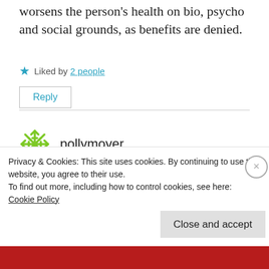worsens the person's health on bio, psycho and social grounds, as benefits are denied.
Liked by 2 people
Reply
pollymoyer
January 8, 2016 at 1:30 pm
Privacy & Cookies: This site uses cookies. By continuing to use this website, you agree to their use.
To find out more, including how to control cookies, see here:
Cookie Policy
Close and accept